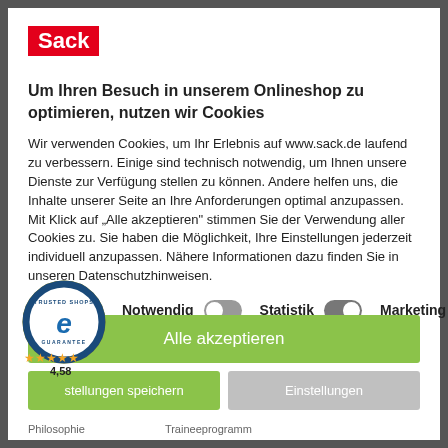[Figure (logo): Sack logo: white text 'Sack' on red background]
Um Ihren Besuch in unserem Onlineshop zu optimieren, nutzen wir Cookies
Wir verwenden Cookies, um Ihr Erlebnis auf www.sack.de laufend zu verbessern. Einige sind technisch notwendig, um Ihnen unsere Dienste zur Verfügung stellen zu können. Andere helfen uns, die Inhalte unserer Seite an Ihre Anforderungen optimal anzupassen. Mit Klick auf „Alle akzeptieren" stimmen Sie der Verwendung aller Cookies zu. Sie haben die Möglichkeit, Ihre Einstellungen jederzeit individuell anzupassen. Nähere Informationen dazu finden Sie in unseren Datenschutzhinweisen.
Notwendig  Statistik  Marketing
Alle akzeptieren
Einstellungen speichern  Einstellungen
[Figure (logo): Trusted Shops Guarantee badge with 4.58 star rating]
Philosophie  Traineeprogramm